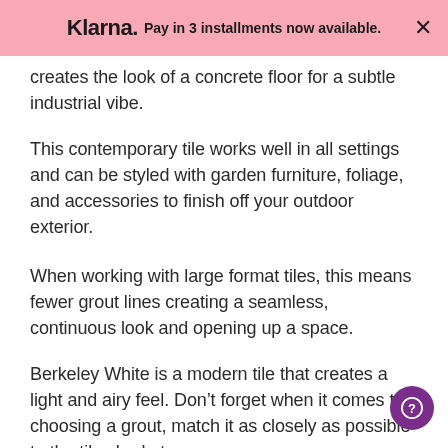Klarna. Pay in 3 installments now available.
creates the look of a concrete floor for a subtle industrial vibe.
This contemporary tile works well in all settings and can be styled with garden furniture, foliage, and accessories to finish off your outdoor exterior.
When working with large format tiles, this means fewer grout lines creating a seamless, continuous look and opening up a space.
Berkeley White is a modern tile that creates a light and airy feel. Don’t forget when it comes to choosing a grout, match it as closely as possible to the tile shade to